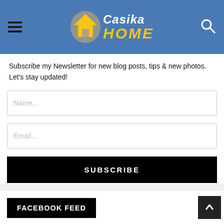[Figure (logo): Casika HOME logo with house icon on blue header background]
Subscribe my Newsletter for new blog posts, tips & new photos. Let's stay updated!
FACEBOOK FEED